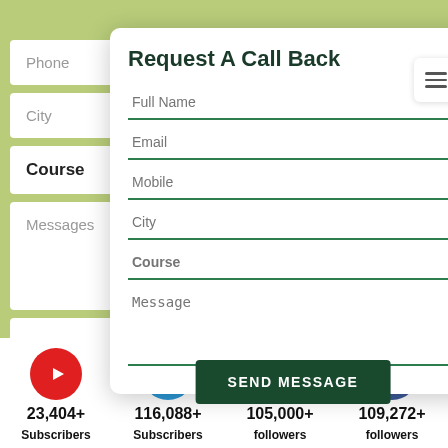[Figure (screenshot): Background contact form with fields: Phone, City, Course, Messages on a green background]
Request A Call Back
Full Name
Email
Mobile
City
Course
Message
SEND MESSAGE
23,404+
Subscribers
116,088+
Subscribers
105,000+
followers
109,272+
followers